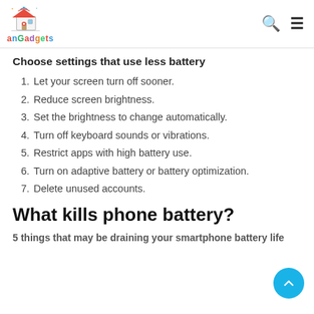anGadgets
Choose settings that use less battery
Let your screen turn off sooner.
Reduce screen brightness.
Set the brightness to change automatically.
Turn off keyboard sounds or vibrations.
Restrict apps with high battery use.
Turn on adaptive battery or battery optimization.
Delete unused accounts.
What kills phone battery?
5 things that may be draining your smartphone battery life